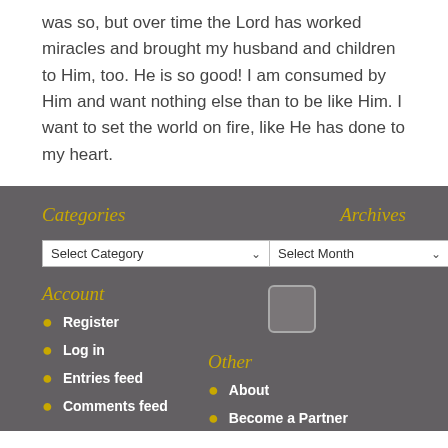was so, but over time the Lord has worked miracles and brought my husband and children to Him, too. He is so good! I am consumed by Him and want nothing else than to be like Him. I want to set the world on fire, like He has done to my heart.
Categories
Archives
Select Category
Select Month
Account
Register
Log in
Entries feed
Comments feed
Other
About
Become a Partner